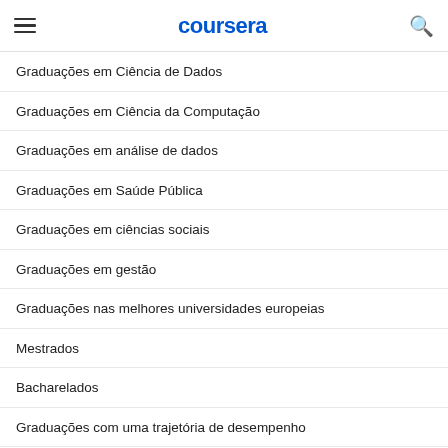coursera
Graduações em Ciência de Dados
Graduações em Ciência da Computação
Graduações em análise de dados
Graduações em Saúde Pública
Graduações em ciências sociais
Graduações em gestão
Graduações nas melhores universidades europeias
Mestrados
Bacharelados
Graduações com uma trajetória de desempenho
Cursos em Ciências (BSc)
O que é uma licenciatura?
Quanto tempo leva um mestrado?
Um MBA on-line vale a pena?
7 maneiras de pagar pela pós-graduação